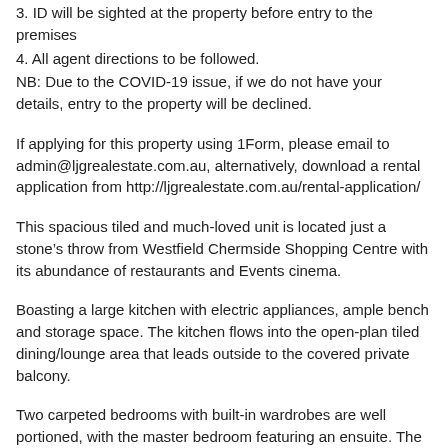3. ID will be sighted at the property before entry to the premises
4. All agent directions to be followed.
NB: Due to the COVID-19 issue, if we do not have your details, entry to the property will be declined.
If applying for this property using 1Form, please email to admin@ljgrealestate.com.au, alternatively, download a rental application from http://ljgrealestate.com.au/rental-application/
This spacious tiled and much-loved unit is located just a stone’s throw from Westfield Chermside Shopping Centre with its abundance of restaurants and Events cinema.
Boasting a large kitchen with electric appliances, ample bench and storage space. The kitchen flows into the open-plan tiled dining/lounge area that leads outside to the covered private balcony.
Two carpeted bedrooms with built-in wardrobes are well portioned, with the master bedroom featuring an ensuite. The